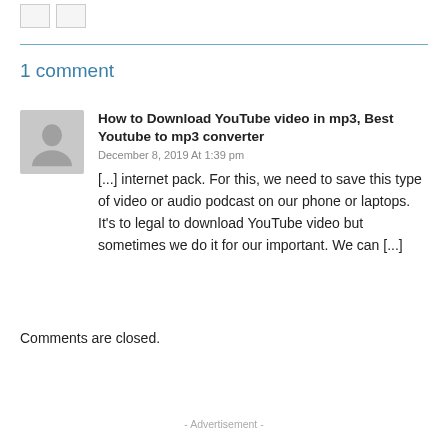1 comment
How to Download YouTube video in mp3, Best Youtube to mp3 converter
December 8, 2019 At 1:39 pm
[...] internet pack. For this, we need to save this type of video or audio podcast on our phone or laptops. It's to legal to download YouTube video but sometimes we do it for our important. We can [...]
Comments are closed.
- Advertisement -